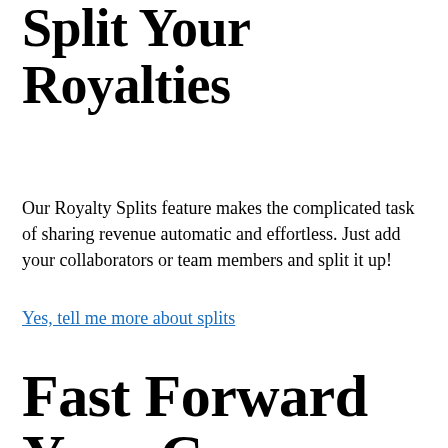Split Your Royalties
Our Royalty Splits feature makes the complicated task of sharing revenue automatic and effortless. Just add your collaborators or team members and split it up!
Yes, tell me more about splits
Fast Forward Your Career